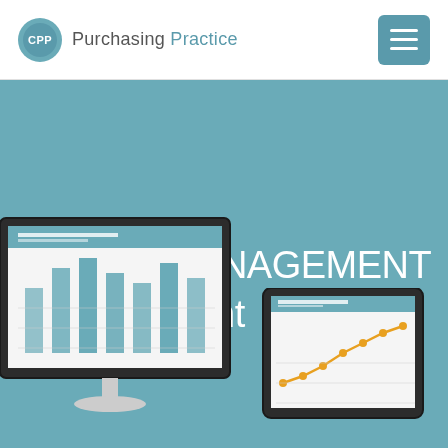CPP Purchasing Practice
BUILD CAPABILITY:
SKILLS MANAGEMENT
Management
[Figure (illustration): Desktop monitor showing a bar chart dashboard with teal-colored bars]
[Figure (illustration): Tablet device showing a line chart with orange data points]